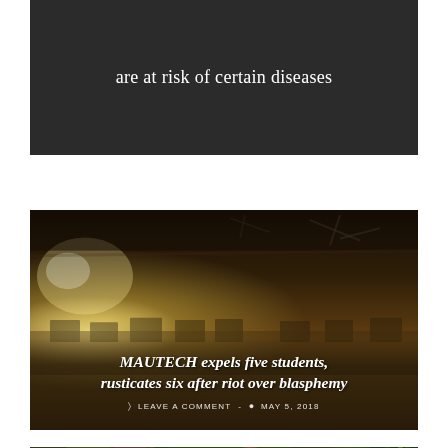are at risk of certain diseases
[Figure (photo): Burned/damaged room interior with ceiling fans, bright light source on left, dark soot-covered ceiling, computers on desks in background]
MAUTECH expels five students, rusticates six after riot over blasphemy
LEAVE A COMMENT · MAY 5, 2018
[Figure (photo): Two men standing outdoors, one in traditional Nigerian attire with hat, the other in dark suit; green foliage in background]